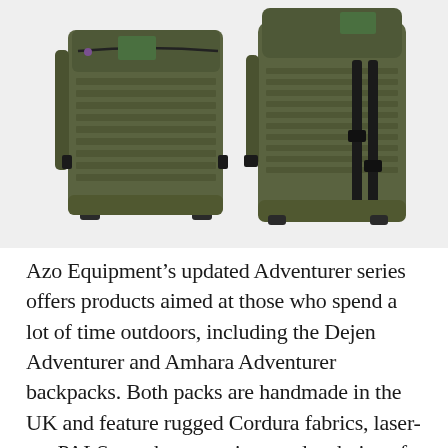[Figure (photo): Two olive/army green tactical backpacks side by side on a light gray background. Left pack shown from the front, displaying a rectangular profile with MOLLE/PALS laser-cut webbing rows, a top zipper compartment, side buckle straps, and a small green patch on front. Right pack shown from a 3/4 rear angle, showing a roll-top style closure, MOLLE webbing, black buckle compression straps running vertically, and a green patch at top.]
Azo Equipment's updated Adventurer series offers products aimed at those who spend a lot of time outdoors, including the Dejen Adventurer and Amhara Adventurer backpacks. Both packs are handmade in the UK and feature rugged Cordura fabrics, laser-cut PALS attachment points, and a choice of pockets for storing smaller items. The 22L Dejen is a burly companion that will handle a variety